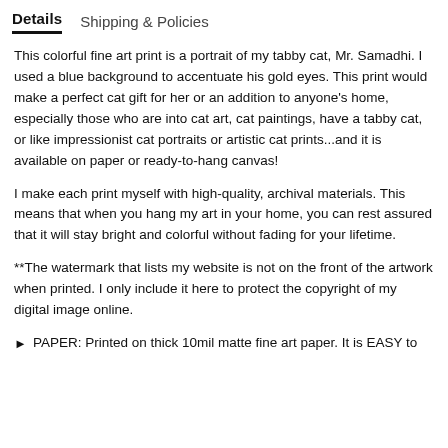Details   Shipping & Policies
This colorful fine art print is a portrait of my tabby cat, Mr. Samadhi. I used a blue background to accentuate his gold eyes. This print would make a perfect cat gift for her or an addition to anyone's home, especially those who are into cat art, cat paintings, have a tabby cat, or like impressionist cat portraits or artistic cat prints...and it is available on paper or ready-to-hang canvas!
I make each print myself with high-quality, archival materials. This means that when you hang my art in your home, you can rest assured that it will stay bright and colorful without fading for your lifetime.
**The watermark that lists my website is not on the front of the artwork when printed. I only include it here to protect the copyright of my digital image online.
PAPER: Printed on thick 10mil matte fine art paper. It is EASY to